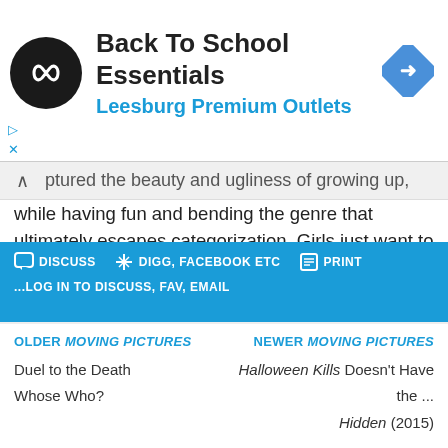[Figure (screenshot): Advertisement banner for 'Back To School Essentials – Leesburg Premium Outlets' with circular logo, navigation icon, and ad close controls]
...ptured the beauty and ugliness of growing up, while having fun and bending the genre that ultimately escapes categorization. Girls just want to have fun, but the fun can turn horrific, and in Jennifer's and Needy's case, deadly. Female friendships sometimes border on obsessive, and you never know when a girl might turn on you because some have a special talent at being the meanest and most evil monsters in the room.
DISCUSS   +++ DIGG, FACEBOOK ETC   PRINT
...LOG IN TO DISCUSS, FAV, EMAIL
OLDER MOVING PICTURES
Duel to the Death
Whose Who?
NEWER MOVING PICTURES
Halloween Kills Doesn't Have the ...
Hidden (2015)